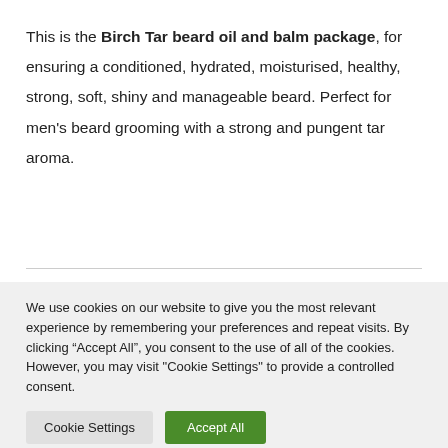This is the Birch Tar beard oil and balm package, for ensuring a conditioned, hydrated, moisturised, healthy, strong, soft, shiny and manageable beard. Perfect for men's beard grooming with a strong and pungent tar aroma.
We use cookies on our website to give you the most relevant experience by remembering your preferences and repeat visits. By clicking “Accept All”, you consent to the use of all of the cookies. However, you may visit "Cookie Settings" to provide a controlled consent.